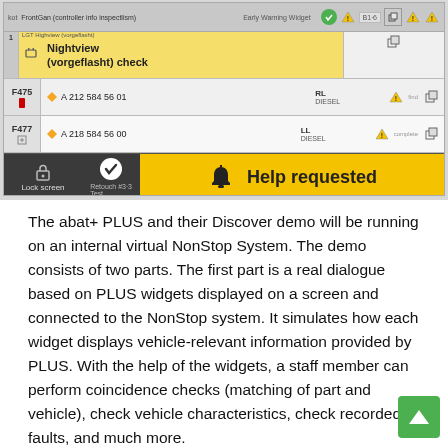[Figure (screenshot): Software UI screenshot showing a vehicle diagnostics system with Nightview (vorgeflasht) check entry highlighted in yellow, F475 and F477 rows with part numbers A 212 584 56 01 and A 218 584 56 00 respectively, warning icons, and a yellow Help requested banner at the bottom with Lock screen and check buttons.]
The abat+ PLUS and their Discover demo will be running on an internal virtual NonStop System. The demo consists of two parts. The first part is a real dialogue based on PLUS widgets displayed on a screen and connected to the NonStop system. It simulates how each widget displays vehicle-relevant information provided by PLUS. With the help of the widgets, a staff member can perform coincidence checks (matching of part and vehicle), check vehicle characteristics, check recorded faults, and much more.